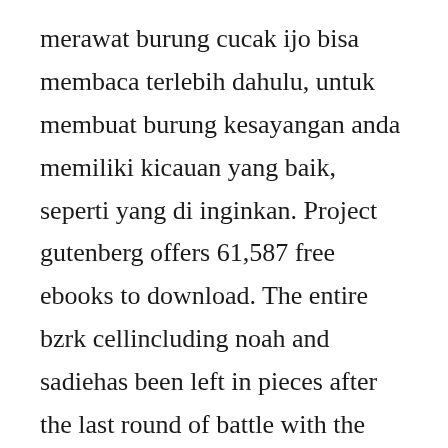merawat burung cucak ijo bisa membaca terlebih dahulu, untuk membuat burung kesayangan anda memiliki kicauan yang baik, seperti yang di inginkan. Project gutenberg offers 61,587 free ebooks to download. The entire bzrk cellincluding noah and sadiehas been left in pieces after the last round of battle with the armstrong twins, conjoined. Epub files can store words, fonts, metadata details, images, style sheets, and tables of content. Selain menjadi hobi pelepas lelah dan pusing menghadapi hidup hobi burung kicau juga bisa...